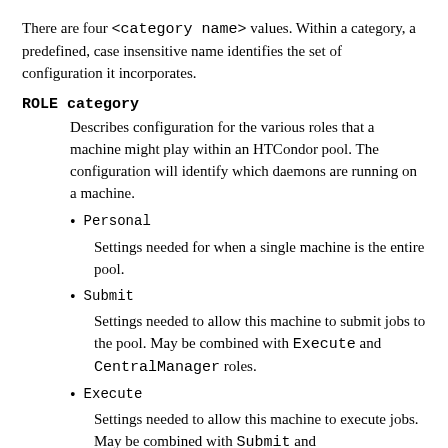There are four <category name> values. Within a category, a predefined, case insensitive name identifies the set of configuration it incorporates.
ROLE category
Describes configuration for the various roles that a machine might play within an HTCondor pool. The configuration will identify which daemons are running on a machine.
Personal
Settings needed for when a single machine is the entire pool.
Submit
Settings needed to allow this machine to submit jobs to the pool. May be combined with Execute and CentralManager roles.
Execute
Settings needed to allow this machine to execute jobs. May be combined with Submit and CentralManager roles.